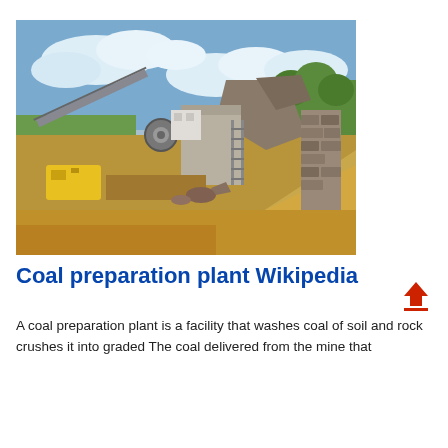[Figure (photo): Outdoor photo of a coal preparation plant site showing industrial equipment including conveyors, a yellow generator, concrete structures, large rock formations, a stone wall, and sandy excavated ground under a partly cloudy sky.]
Coal preparation plant Wikipedia
A coal preparation plant is a facility that washes coal of soil and rock crushes it into graded The coal delivered from the mine that